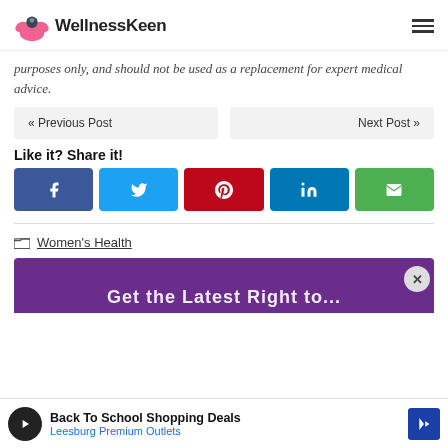WellnessKeen
purposes only, and should not be used as a replacement for expert medical advice.
« Previous Post   Next Post »
Like it? Share it!
[Figure (other): Social share buttons: Facebook, Twitter, Pinterest, LinkedIn, Email]
Women's Health
[Figure (other): Purple promotional banner with close button, partially visible text]
Back To School Shopping Deals Leesburg Premium Outlets